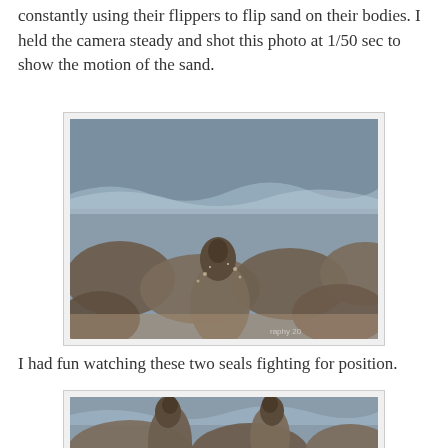constantly using their flippers to flip sand on their bodies. I held the camera steady and shot this photo at 1/50 sec to show the motion of the sand.
[Figure (photo): A group of elephant seals resting on a beach, with one seal rearing up, flipping sand on its body. Ocean waves visible in background.]
I had fun watching these two seals fighting for position.
[Figure (photo): Two elephant seals facing each other appearing to fight for position on a crowded beach, with ocean waves in background.]